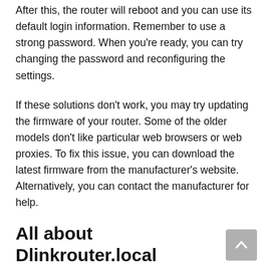After this, the router will reboot and you can use its default login information. Remember to use a strong password. When you're ready, you can try changing the password and reconfiguring the settings.
If these solutions don't work, you may try updating the firmware of your router. Some of the older models don't like particular web browsers or web proxies. To fix this issue, you can download the latest firmware from the manufacturer's website. Alternatively, you can contact the manufacturer for help.
All about Dlinkrouter.local